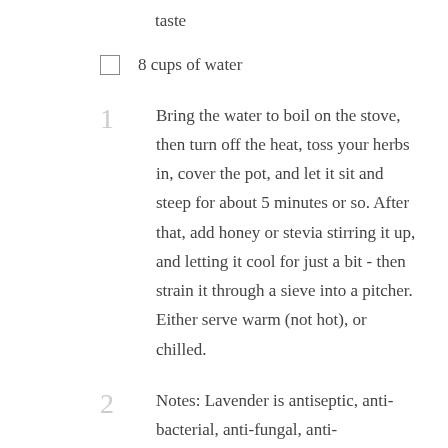taste
8 cups of water
1  Bring the water to boil on the stove, then turn off the heat, toss your herbs in, cover the pot, and let it sit and steep for about 5 minutes or so. After that, add honey or stevia stirring it up, and letting it cool for just a bit - then strain it through a sieve into a pitcher. Either serve warm (not hot), or chilled.
2  Notes: Lavender is antiseptic, anti-bacterial, anti-fungal, anti-inflammatory, anti-convulsive, and